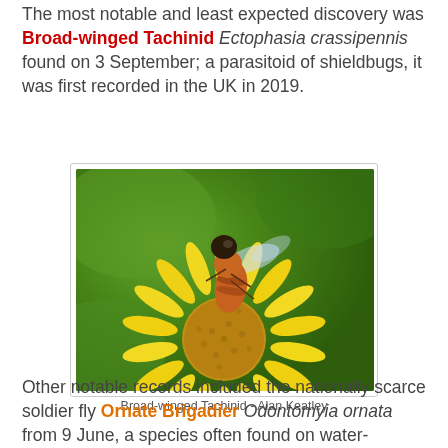The most notable and least expected discovery was Broad-winged Tachinid Ectophasia crassipennis found on 3 September; a parasitoid of shieldbugs, it was first recorded in the UK in 2019.
[Figure (photo): Close-up photograph of a Broad-winged Tachinid fly (Ectophasia crassipennis) resting on a bright yellow daisy-like flower, with green foliage in the background. Photo credit: Alan Keatley.]
Broad-winged Tachinid - Alan Keatley
Other notable records included the nationally scarce soldier fly Ornate Brigadier Odontomyia ornata from 9 June, a species often found on water-dropwort, in